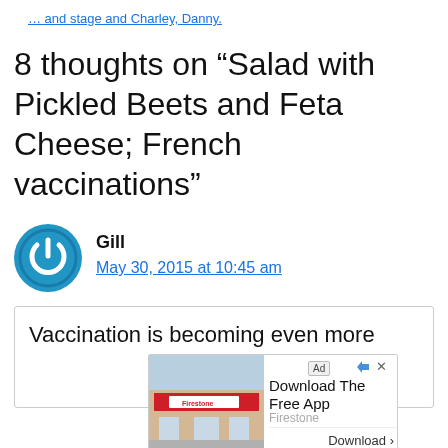… and stage and Charley, Danny.
8 thoughts on “Salad with Pickled Beets and Feta Cheese; French vaccinations”
Gill
May 30, 2015 at 10:45 am
Vaccination is becoming even more
[Figure (screenshot): Firestone app advertisement showing a Firestone store building photo on the left, with 'Download The Free App' text, 'Firestone' subtitle, and a 'Download >' button. An 'Ad' label is shown in the top-left corner.]